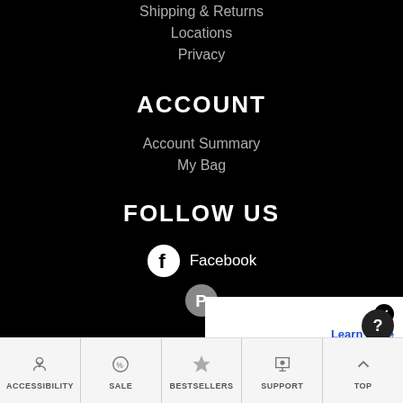Shipping & Returns
Locations
Privacy
ACCOUNT
Account Summary
My Bag
FOLLOW US
Facebook
Learn More
Accept & Close
ACCESSIBILITY | SALE | BESTSELLERS | SUPPORT | TOP